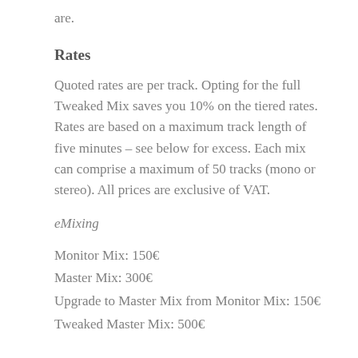are.
Rates
Quoted rates are per track. Opting for the full Tweaked Mix saves you 10% on the tiered rates. Rates are based on a maximum track length of five minutes – see below for excess. Each mix can comprise a maximum of 50 tracks (mono or stereo). All prices are exclusive of VAT.
eMixing
Monitor Mix: 150€
Master Mix: 300€
Upgrade to Master Mix from Monitor Mix: 150€
Tweaked Master Mix: 500€